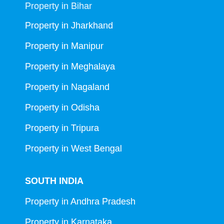Property in Bihar
Property in Jharkhand
Property in Manipur
Property in Meghalaya
Property in Nagaland
Property in Odisha
Property in Tripura
Property in West Bengal
SOUTH INDIA
Property in Andhra Pradesh
Property in Karnataka
Property in Kerala
Property in Tamil Nadu